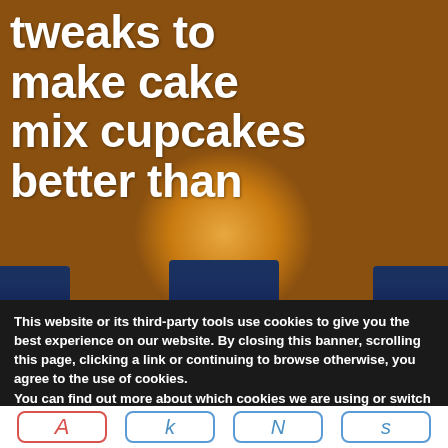[Figure (photo): Close-up photo of golden yellow cupcakes in dark blue paper liners on a cooling rack, with large white bold text overlay reading 'tweaks to make cake mix cupcakes better than']
This website or its third-party tools use cookies to give you the best experience on our website. By closing this banner, scrolling this page, clicking a link or continuing to browse otherwise, you agree to the use of cookies.
You can find out more about which cookies we are using or switch them off in settings.